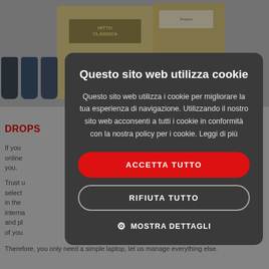[Figure (screenshot): Background webpage showing product boxes (wine/spirits) in top image area, with partial page text about 'DROPS' service partially visible behind modal overlay.]
Questo sito web utilizza cookie
Questo sito web utilizza i cookie per migliorare la tua esperienza di navigazione. Utilizzando il nostro sito web acconsenti a tutti i cookie in conformità con la nostra policy per i cookie. Leggi di più
ACCETTA TUTTO
RIFIUTA TUTTO
MOSTRA DETTAGLI